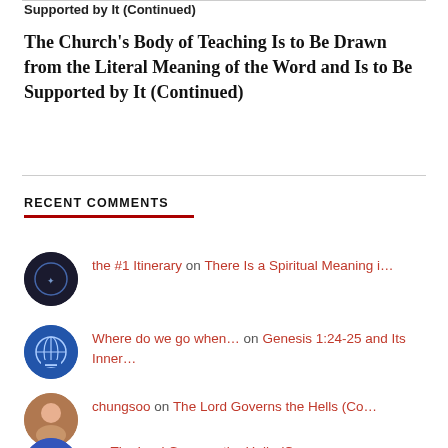Supported by It (Continued)
The Church's Body of Teaching Is to Be Drawn from the Literal Meaning of the Word and Is to Be Supported by It (Continued)
RECENT COMMENTS
the #1 Itinerary on There Is a Spiritual Meaning i…
Where do we go when… on Genesis 1:24-25 and Its Inner…
chungsoo on The Lord Governs the Hells (Co…
on The Lord Governs the Hells (Co…